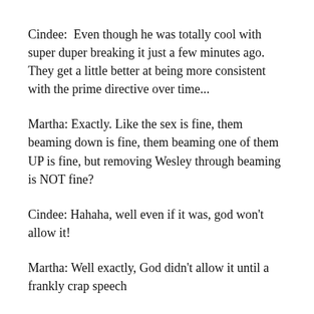Cindee:  Even though he was totally cool with super duper breaking it just a few minutes ago. They get a little better at being more consistent with the prime directive over time...
Martha: Exactly. Like the sex is fine, them beaming down is fine, them beaming one of them UP is fine, but removing Wesley through beaming is NOT fine?
Cindee: Hahaha, well even if it was, god won't allow it!
Martha: Well exactly, God didn't allow it until a frankly crap speech
Cindee: You know there have been other episodes where they have said that they have to follow the laws of wherever they are, but they haven't framed it as the prime directive situation...